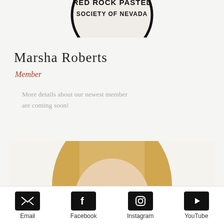[Figure (logo): Red Rock Pastel Society of Nevada circular logo, partially cropped at top]
Marsha Roberts
Member
More details about our newest member are coming soon!
[Figure (photo): Circular cropped portrait photo of a blonde woman, cropped at forehead and cheeks]
Email  Facebook  Instagram  YouTube